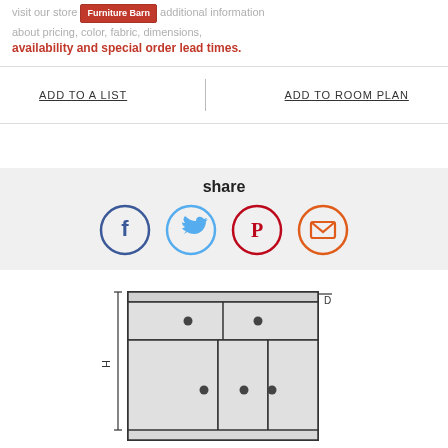Visit our store for additional information about pricing, color, fabric, dimensions, availability and special order lead times.
ADD TO A LIST | ADD TO ROOM PLAN
share
[Figure (illustration): Social sharing icons: Facebook (blue circle with f), Twitter (light blue circle with bird), Pinterest (dark red circle with P), Email (orange circle with envelope)]
[Figure (engineering-diagram): Front elevation line drawing of a sideboard/credenza with two top drawers and three lower cabinet doors with knob hardware. Height (H) and Depth (D) dimension callouts visible.]